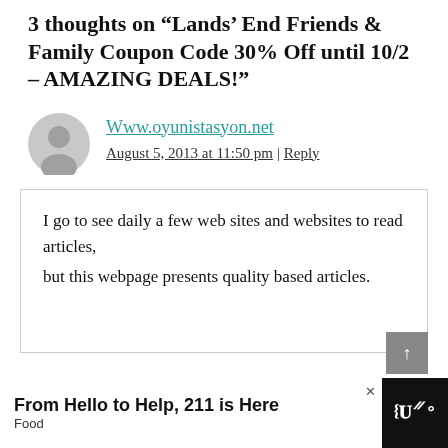3 thoughts on “Lands’ End Friends & Family Coupon Code 30% Off until 10/2 – AMAZING DEALS!”
Www.oyunistasyon.net
August 5, 2013 at 11:50 pm | Reply
I go to see daily a few web sites and websites to read articles, but this webpage presents quality based articles.
From Hello to Help, 211 is Here
Food